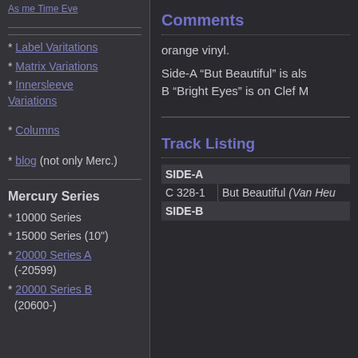* Label Varitations
* Matrix Variations
* Innersleeve Variations
* Columns
* blog (not only Merc.)
Mercury Series
* 10000 Series
* 15000 Series (10")
* 20000 Series A (-20599)
* 20000 Series B (20600-)
Comments
orange vinyl.
Side-A “But Beautiful” is als... B “Bright Eyes” is on Clef M...
Track Listing
|  | Title |
| --- | --- |
| SIDE-A |  |
| C 328-1 | But Beautiful (Van Heu... |
| SIDE-B |  |